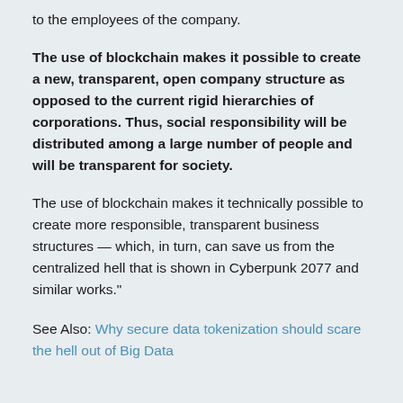to the employees of the company.
The use of blockchain makes it possible to create a new, transparent, open company structure as opposed to the current rigid hierarchies of corporations. Thus, social responsibility will be distributed among a large number of people and will be transparent for society.
The use of blockchain makes it technically possible to create more responsible, transparent business structures — which, in turn, can save us from the centralized hell that is shown in Cyberpunk 2077 and similar works."
See Also: Why secure data tokenization should scare the hell out of Big Data